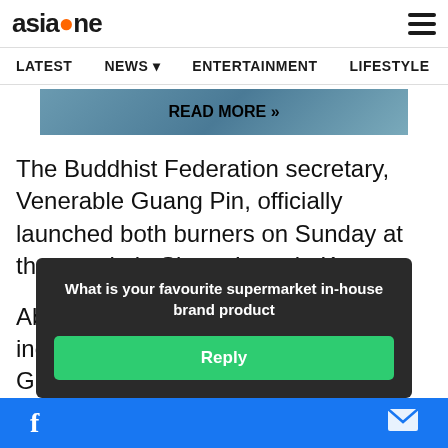asiaone
LATEST  NEWS  ENTERTAINMENT  LIFESTYLE  D
READ MORE »
The Buddhist Federation secretary, Venerable Guang Pin, officially launched both burners on Sunday at the temple in Simon Lane in Kovan.
About 100 people were present, including Ang Mo Kio GRC MP Yeo Guat Kwang and Aljunied GRC MP
What is your favourite supermarket in-house brand product
Reply